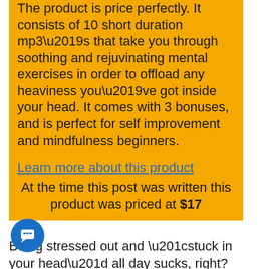The product is price perfectly. It consists of 10 short duration mp3's that take you through soothing and rejuvinating mental exercises in order to offload any heaviness you've got inside your head. It comes with 3 bonuses, and is perfect for self improvement and mindfulness beginners.
Learn more about this product
At the time this post was written this product was priced at $17
Being stressed out and “stuck in your head” all day sucks, right?
But we’re all